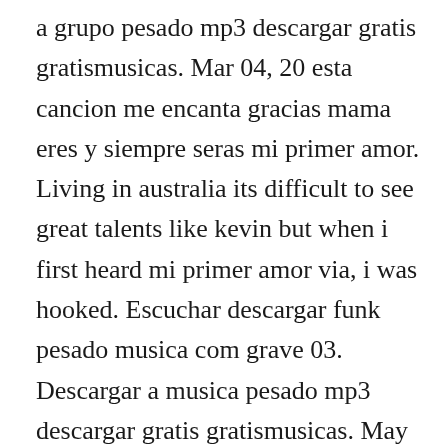a grupo pesado mp3 descargar gratis gratismusicas. Mar 04, 20 esta cancion me encanta gracias mama eres y siempre seras mi primer amor. Living in australia its difficult to see great talents like kevin but when i first heard mi primer amor via, i was hooked. Escuchar descargar funk pesado musica com grave 03. Descargar a musica pesado mp3 descargar gratis gratismusicas. May 09, 20 mi primer amor eres tu te quiero tanto tanto te amo mama. Watch the video for mi primer amor from pesado s por ti for free, and see the artwork, lyrics and similar artists.